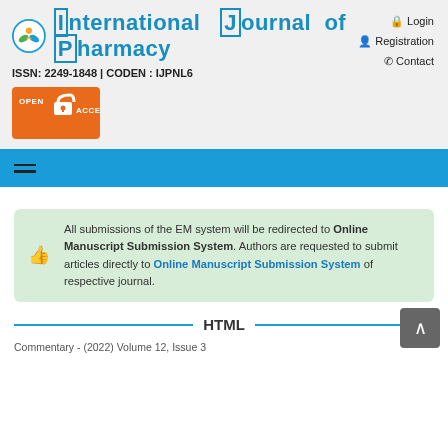International Journal of Pharmacy
ISSN: 2249-1848 | CODEN : IJPNL6
Login
Registration
Contact
[Figure (logo): Open Access logo badge (orange background with open padlock icon and text OPEN ACCESS)]
All submissions of the EM system will be redirected to Online Manuscript Submission System. Authors are requested to submit articles directly to Online Manuscript Submission System of respective journal.
HTML
Commentary - (2022) Volume 12, Issue 3